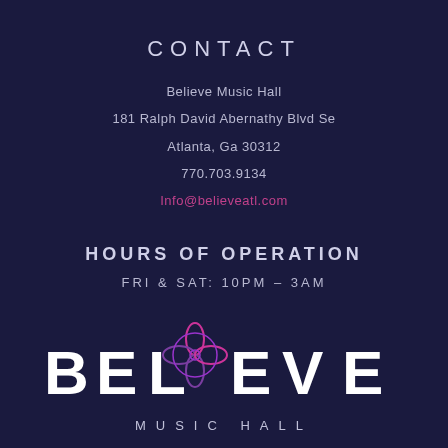CONTACT
Believe Music Hall
181 Ralph David Abernathy Blvd Se
Atlanta, Ga 30312
770.703.9134
Info@believeatl.com
HOURS OF OPERATION
FRI & SAT: 10PM – 3AM
[Figure (logo): BELIEVE MUSIC HALL logo with stylized flower/petal icon replacing the letter I, gradient purple/pink colors]